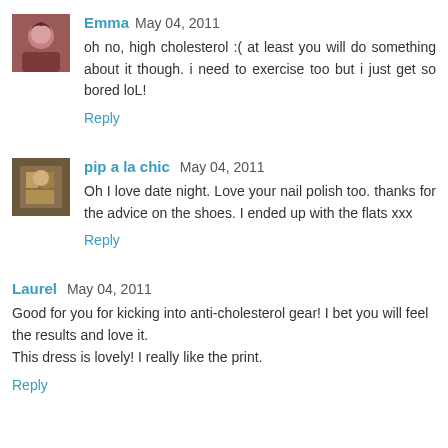Emma May 04, 2011
oh no, high cholesterol :( at least you will do something about it though. i need to exercise too but i just get so bored loL!
Reply
pip a la chic May 04, 2011
Oh I love date night. Love your nail polish too. thanks for the advice on the shoes. I ended up with the flats xxx
Reply
Laurel May 04, 2011
Good for you for kicking into anti-cholesterol gear! I bet you will feel the results and love it.
This dress is lovely! I really like the print.
Reply